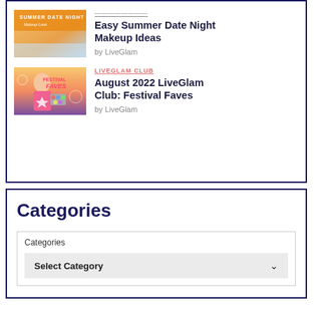[Figure (photo): Summer Date Night Makeup Look thumbnail with orange/pink tones and text overlay]
Easy Summer Date Night Makeup Ideas
by LiveGlam
LIVEGLAM CLUB
[Figure (illustration): Festival Faves illustration showing a person with makeup and colorful background with text overlay]
August 2022 LiveGlam Club: Festival Faves
by LiveGlam
Categories
Categories
Select Category